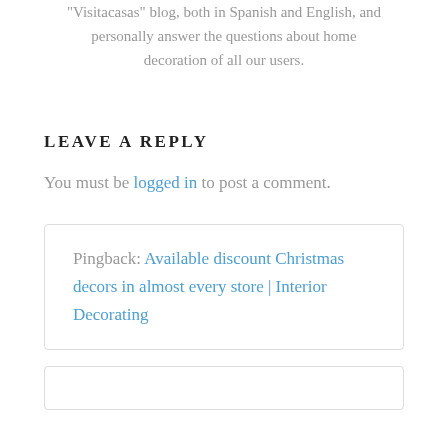"Visitacasas" blog, both in Spanish and English, and personally answer the questions about home decoration of all our users.
LEAVE A REPLY
You must be logged in to post a comment.
Pingback: Available discount Christmas decors in almost every store | Interior Decorating